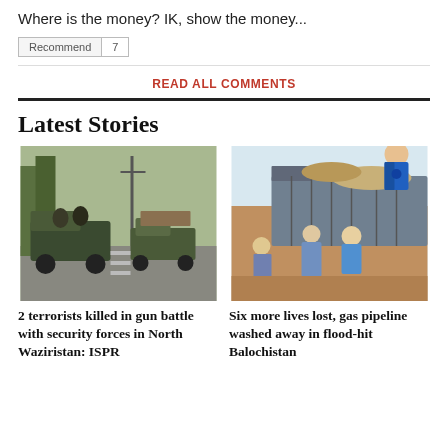Where is the money? IK, show the money...
Recommend | 7
READ ALL COMMENTS
Latest Stories
[Figure (photo): Military vehicles with soldiers on a road, trees and utility poles in background]
[Figure (photo): Relief workers in blue shirts unloading supplies from a truck, crowd of people helping]
2 terrorists killed in gun battle with security forces in North Waziristan: ISPR
Six more lives lost, gas pipeline washed away in flood-hit Balochistan